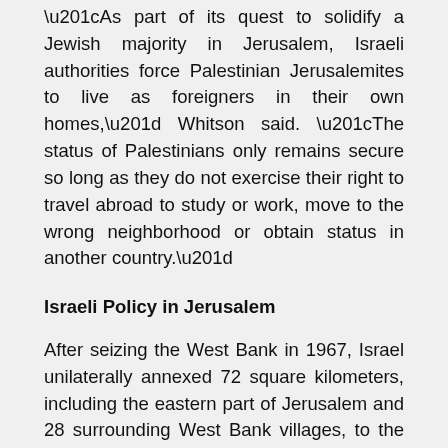“As part of its quest to solidify a Jewish majority in Jerusalem, Israeli authorities force Palestinian Jerusalemites to live as foreigners in their own homes,” Whitson said. “The status of Palestinians only remains secure so long as they do not exercise their right to travel abroad to study or work, move to the wrong neighborhood or obtain status in another country.”
Israeli Policy in Jerusalem
After seizing the West Bank in 1967, Israel unilaterally annexed 72 square kilometers, including the eastern part of Jerusalem and 28 surrounding West Bank villages, to the Jerusalem municipality. This area, commonly called East Jerusalem, had 66,000 Palestinian residents, 24 percent of the new municipality’s population. Whereas Israeli military orders apply to the rest of the West Bank, Israel applies its own civil laws to East Jerusalem.